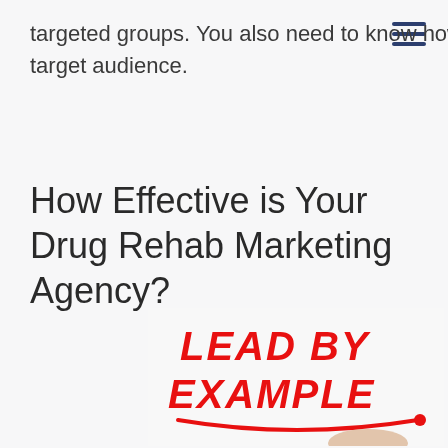targeted groups. You also need to know how to strategically reach and coral your target audience.
How Effective is Your Drug Rehab Marketing Agency?
[Figure (photo): A hand holding a red marker writing 'LEAD BY EXAMPLE' in bold red cursive lettering on a white surface, with a red underline beneath the text.]